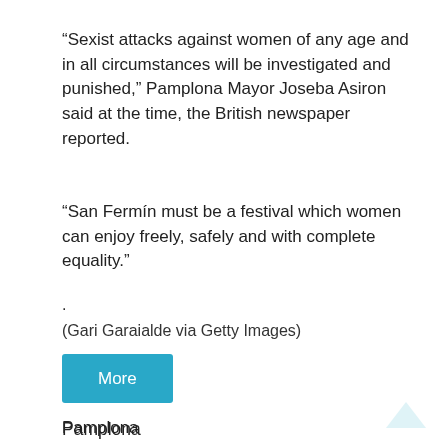“Sexist attacks against women of any age and in all circumstances will be investigated and punished,” Pamplona Mayor Joseba Asiron said at the time, the British newspaper reported.
“San Fermín must be a festival which women can enjoy freely, safely and with complete equality.”
.
(Gari Garaialde via Getty Images)
More
Pamplona
.
(Gari Garaialde via Getty Images)
More